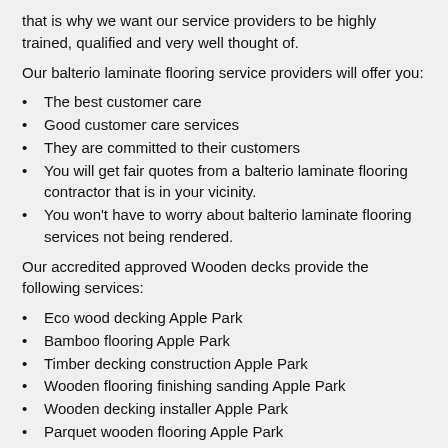that is why we want our service providers to be highly trained, qualified and very well thought of.
Our balterio laminate flooring service providers will offer you:
The best customer care
Good customer care services
They are committed to their customers
You will get fair quotes from a balterio laminate flooring contractor that is in your vicinity.
You won't have to worry about balterio laminate flooring services not being rendered.
Our accredited approved Wooden decks provide the following services:
Eco wood decking Apple Park
Bamboo flooring Apple Park
Timber decking construction Apple Park
Wooden flooring finishing sanding Apple Park
Wooden decking installer Apple Park
Parquet wooden flooring Apple Park
Wooden decks Apple Park
Balterio laminate flooring Apple Park
Laminate floors Apple Park
Laminated wooden flooring prices Apple Park
Decking solutions Apple Park
Wooden decks Apple Park
Wooden floor Apple Park